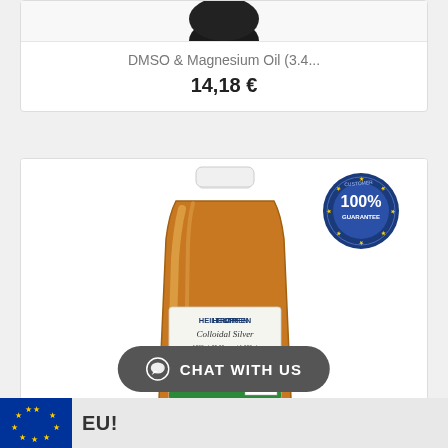[Figure (photo): Top portion of dark bottle cap visible, product photo cropped]
DMSO & Magnesium Oil (3.4...
14,18 €
[Figure (photo): Large amber glass bottle of Heiltropen Colloidal Silver 1000ml with white cap and label, 100% guarantee badge in top right corner]
CHAT WITH US
EU!